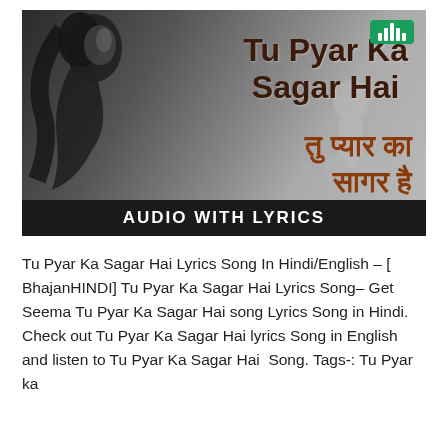[Figure (photo): Album art thumbnail for song 'Tu Pyar Ka Sagar Hai' showing a black and white photo of a woman looking upward with the song title in English and Hindi text, and an 'AUDIO WITH LYRICS' banner at the bottom, with a green Saregama logo badge in the top right corner.]
Tu Pyar Ka Sagar Hai Lyrics Song In Hindi/English – [ BhajanHINDI] Tu Pyar Ka Sagar Hai Lyrics Song– Get Seema Tu Pyar Ka Sagar Hai song Lyrics Song in Hindi. Check out Tu Pyar Ka Sagar Hai lyrics Song in English and listen to Tu Pyar Ka Sagar Hai  Song. Tags-: Tu Pyar ka